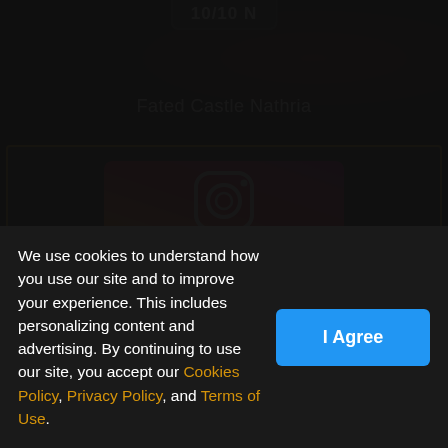10/10 N
Fated Castle Nathria
[Figure (logo): Instagram logo on gradient orange-to-pink/purple banner]
Follow us on Instagram! This is where we show our creative side, and you don't want to miss that side of us! 🔥🔥
Profile | Roster | Mythic Plus | ...
We use cookies to understand how you use our site and to improve your experience. This includes personalizing content and advertising. By continuing to use our site, you accept our Cookies Policy, Privacy Policy, and Terms of Use.